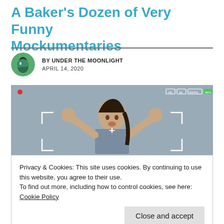A Baker's Dozen of Very Funny Mockumentaries
BY UNDER THE MOONLIGHT
APRIL 14, 2020
[Figure (photo): A woman in a blue shirt making a funny face with hands raised near her head, shown through a camera viewfinder overlay on a grey background.]
Privacy & Cookies: This site uses cookies. By continuing to use this website, you agree to their use.
To find out more, including how to control cookies, see here: Cookie Policy
follow that same logic. There made up stories in the